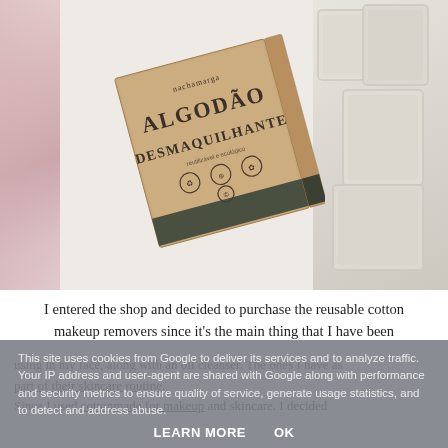[Figure (photo): A kraft paper box labeled 'ALGODÃO DESMAQUILHANTE' (makeup remover cotton pads) lying at an angle on a white surface, with pink fluffy fur on the left side and cream/beige fabric cotton pads on the right side.]
I entered the shop and decided to purchase the reusable cotton makeup removers since it's the main thing that I have been
This site uses cookies from Google to deliver its services and to analyze traffic. Your IP address and user-agent are shared with Google along with performance and security metrics to ensure quality of service, generate usage statistics, and to detect and address abuse.
LEARN MORE   OK